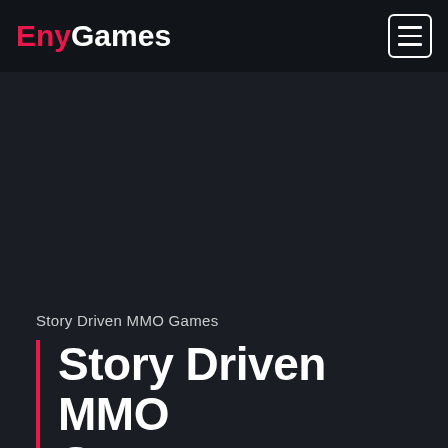EnyGames
Story Driven MMO Games
Story Driven MMO Games
[Figure (screenshot): Dark fantasy game scene showing silhouettes of medieval/fantasy structures against a teal moonlit sky, partially visible at bottom of page. A circular grey thumbs-up button overlaps the top-left of the image.]